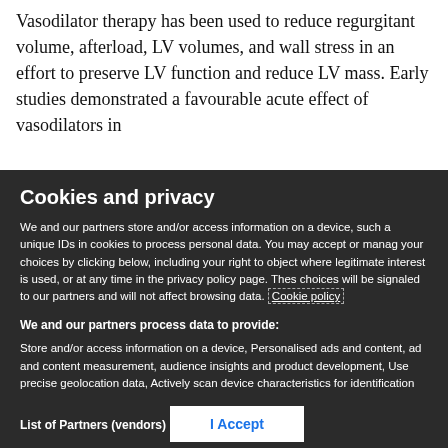Vasodilator therapy has been used to reduce regurgitant volume, afterload, LV volumes, and wall stress in an effort to preserve LV function and reduce LV mass. Early studies demonstrated a favourable acute effect of vasodilators in
Cookies and privacy
We and our partners store and/or access information on a device, such a unique IDs in cookies to process personal data. You may accept or manage your choices by clicking below, including your right to object where legitimate interest is used, or at any time in the privacy policy page. These choices will be signaled to our partners and will not affect browsing data. Cookie policy
We and our partners process data to provide:
Store and/or access information on a device, Personalised ads and content, ad and content measurement, audience insights and product development, Use precise geolocation data, Actively scan device characteristics for identification
List of Partners (vendors)
I Accept